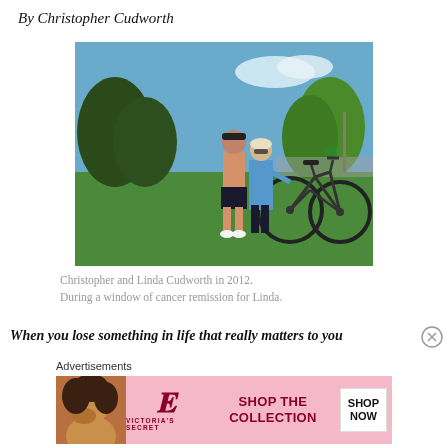By Christopher Cudworth
[Figure (photo): Christopher and Linda Cudworth standing outdoors on grass next to a bicycle, with trees in the background, blue sky with clouds. Summer scene in a park.]
Christopher and Linda Cudworth in 2012. During a window of cancer remission for Linda.
When you lose something in life that really matters to you
Advertisements
[Figure (other): Victoria's Secret advertisement banner with pink background, model photo, VS logo, 'SHOP THE COLLECTION' text and 'SHOP NOW' button.]